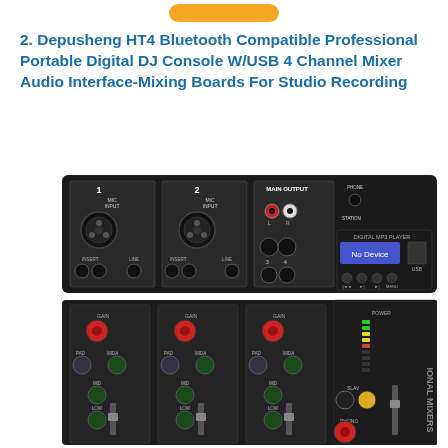[Figure (other): Orange rounded button/banner at top of page]
2. Depusheng HT4 Bluetooth Compatible Professional Portable Digital DJ Console W/USB 4 Channel Mixer Audio Interface-Mixing Boards For Studio Recording
[Figure (photo): Photo of a Depusheng HT4 professional portable digital DJ mixer console showing the top panel with XLR mic inputs, main output connectors, digital MP3 player with 'No Device' display, USB port, channel controls with gain knobs, PAD/MID/LOW EQ knobs, faders, VU meter LEDs, and 'IONAL MIXERS' branding on the right side.]